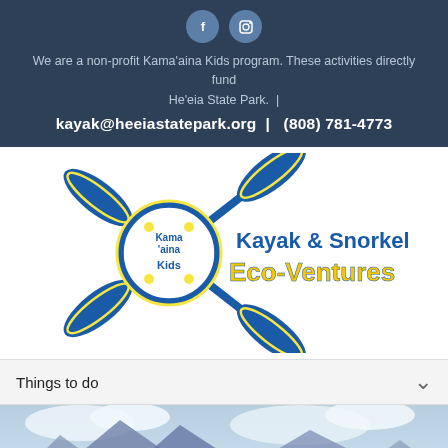Social media icons (Facebook, Instagram)
We are a non-profit Kama'aina Kids program. These activities directly fund He'eia State Park.  |
kayak@heeiastatepark.org  |   (808) 781-4773
[Figure (logo): Kama'aina Kids Kayak & Snorkel Eco-Ventures logo with crossed blue kayak paddles and circular badge]
Things to do
[Figure (photo): Aerial or wide scenic photo of a Hawaiian bay with mountains, green fields, and a snorkeler in the foreground]